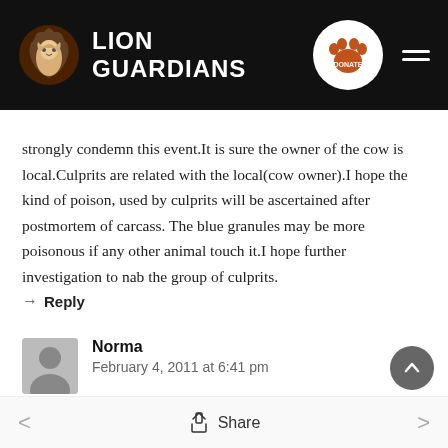[Figure (logo): Lion Guardians website header with logo (lion head in brown circle), 'LION GUARDIANS' text in white, orange paw print donate button, and hamburger menu icon on black background]
strongly condemn this event.It is sure the owner of the cow is local.Culprits are related with the local(cow owner).I hope the kind of poison, used by culprits will be ascertained after postmortem of carcass. The blue granules may be more poisonous if any other animal touch it.I hope further investigation to nab the group of culprits.
→ Reply
Norma
February 4, 2011 at 6:41 pm
This is disturbing and outrageous. Humans need to co-exist
< Share >